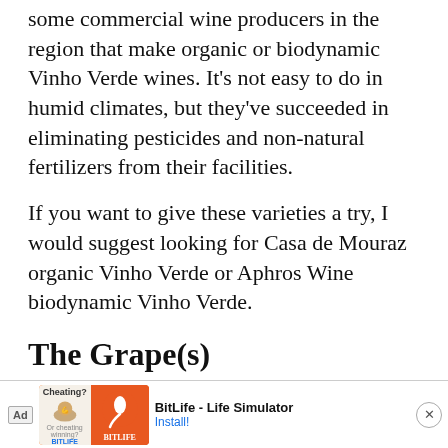some commercial wine producers in the region that make organic or biodynamic Vinho Verde wines. It’s not easy to do in humid climates, but they’ve succeeded in eliminating pesticides and non-natural fertilizers from their facilities.
If you want to give these varieties a try, I would suggest looking for Casa de Mouraz organic Vinho Verde or Aphros Wine biodynamic Vinho Verde.
The Grape(s)
As we already know, Vinho Verde is not a grape. In fac[t...] sever[al...]
[Figure (other): Advertisement banner for BitLife - Life Simulator app. Shows 'Ad' label, Cheating? themed graphic with orange background, BitLife logo with sperm cell icon, app name 'BitLife - Life Simulator', and Install! button.]